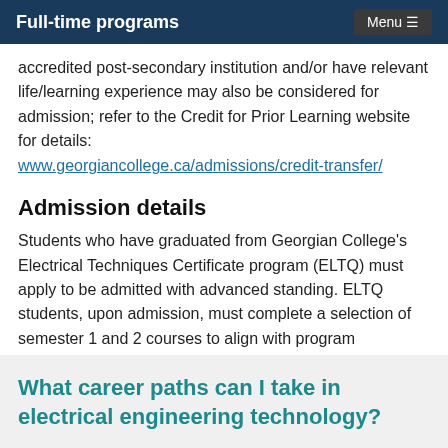Full-time programs
accredited post-secondary institution and/or have relevant life/learning experience may also be considered for admission; refer to the Credit for Prior Learning website for details:
www.georgiancollege.ca/admissions/credit-transfer/
Admission details
Students who have graduated from Georgian College's Electrical Techniques Certificate program (ELTQ) must apply to be admitted with advanced standing. ELTQ students, upon admission, must complete a selection of semester 1 and 2 courses to align with program progression.
What career paths can I take in electrical engineering technology?